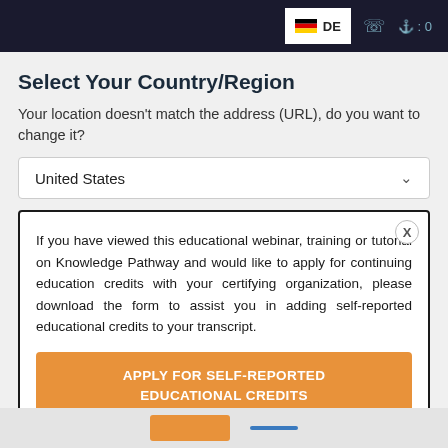[Figure (screenshot): Top navigation bar with dark background, German flag with DE label, phone icon, and cart icon showing 0]
Select Your Country/Region
Your location doesn't match the address (URL), do you want to change it?
United States (dropdown)
If you have viewed this educational webinar, training or tutorial on Knowledge Pathway and would like to apply for continuing education credits with your certifying organization, please download the form to assist you in adding self-reported educational credits to your transcript.
APPLY FOR SELF-REPORTED EDUCATIONAL CREDITS